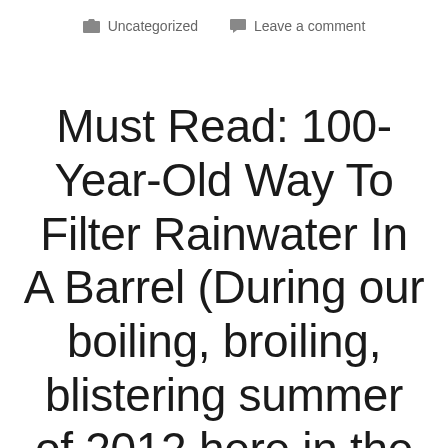Uncategorized   Leave a comment
Must Read: 100-Year-Old Way To Filter Rainwater In A Barrel (During our boiling, broiling, blistering summer of 2012 here in the Missouri Ozarks